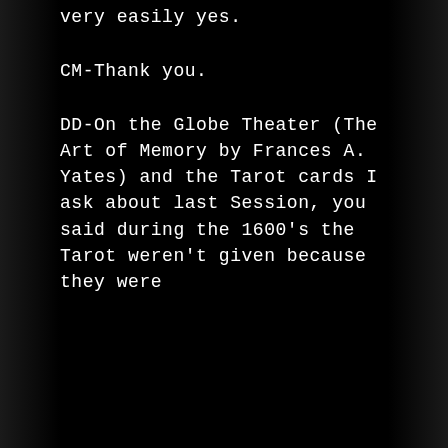very easily yes.
CM-Thank you.
DD-On the Globe Theater (The Art of Memory by Frances A. Yates) and the Tarot cards I ask about last Session, you said during the 1600's the Tarot weren't given because they were